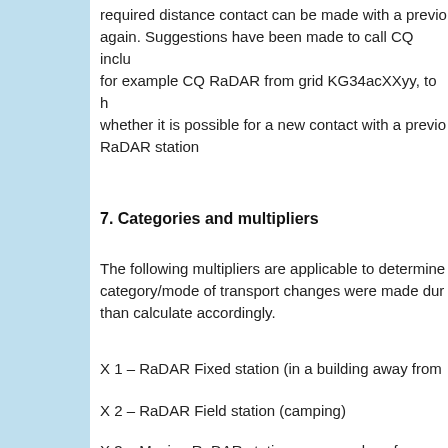required distance contact can be made with a previous station again. Suggestions have been made to call CQ including for example CQ RaDAR from grid KG34acXXyy, to h whether it is possible for a new contact with a previous RaDAR station
7. Categories and multipliers
The following multipliers are applicable to determine category/mode of transport changes were made dur than calculate accordingly.
X 1 – RaDAR Fixed station (in a building away from
X 2 – RaDAR Field station (camping)
X 3 – Moving RaDAR station – see modes of transpe